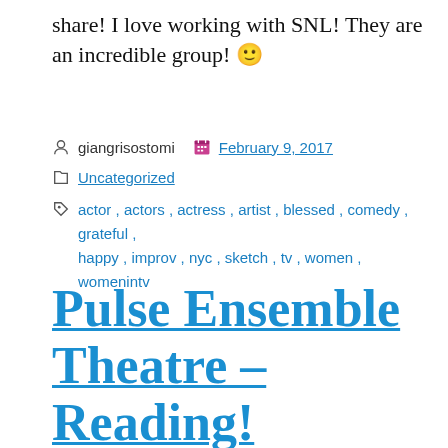share! I love working with SNL! They are an incredible group! 🙂
giangrisostomi  February 9, 2017
Uncategorized
actor , actors , actress , artist , blessed , comedy , grateful , happy , improv , nyc , sketch , tv , women , womenintv
Pulse Ensemble Theatre – Reading!